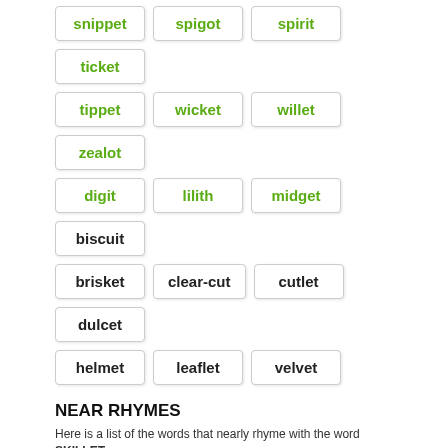snippet
spigot
spirit
ticket
tippet
wicket
willet
zealot
digit
lilith
midget
biscuit
brisket
clear-cut
cutlet
dulcet
helmet
leaflet
velvet
NEAR RHYMES
Here is a list of the words that nearly rhyme with the word SKILLET.
1 syllable words
filth
tilth
belt
billed
build
celt
childe
chilled
cult
dwelt